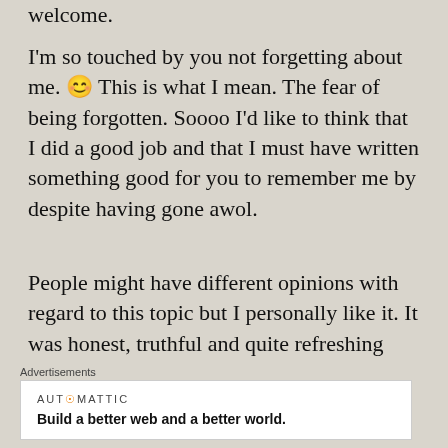welcome.
I'm so touched by you not forgetting about me. 😊 This is what I mean. The fear of being forgotten. Soooo I'd like to think that I did a good job and that I must have written something good for you to remember me by despite having gone awol.
People might have different opinions with regard to this topic but I personally like it. It was honest, truthful and quite refreshing actually
Advertisements
[Figure (other): Automattic advertisement banner: 'Build a better web and a better world.']